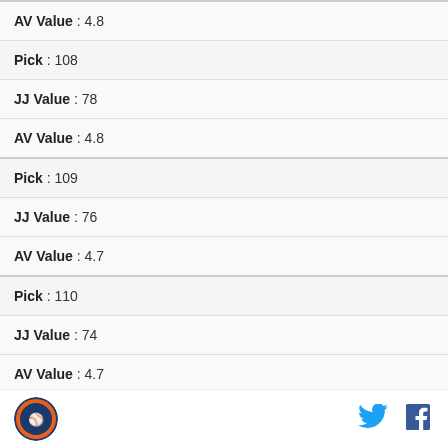| AV Value : 4.8 |
| Pick : 108 |
| JJ Value : 78 |
| AV Value : 4.8 |
| Pick : 109 |
| JJ Value : 76 |
| AV Value : 4.7 |
| Pick : 110 |
| JJ Value : 74 |
| AV Value : 4.7 |
| Pick : 111 |
[Figure (logo): Circular sports team logo with blue and orange colors]
[Figure (logo): Twitter bird icon in blue]
[Figure (logo): Facebook f icon in dark blue]